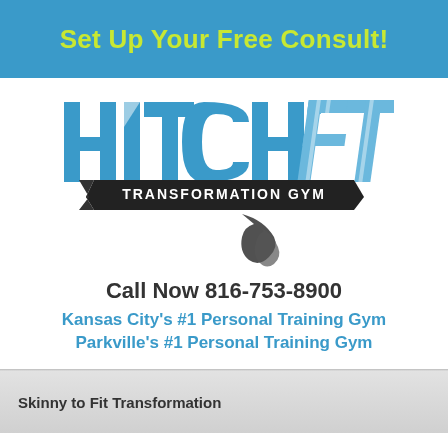Set Up Your Free Consult!
[Figure (logo): HitchFit Transformation Gym logo with blue bold letters HITCH and italic FIT, black ribbon banner with TRANSFORMATION GYM text, and decorative swoosh mark below]
Call Now 816-753-8900
Kansas City's #1 Personal Training Gym
Parkville's #1 Personal Training Gym
Skinny to Fit Transformation